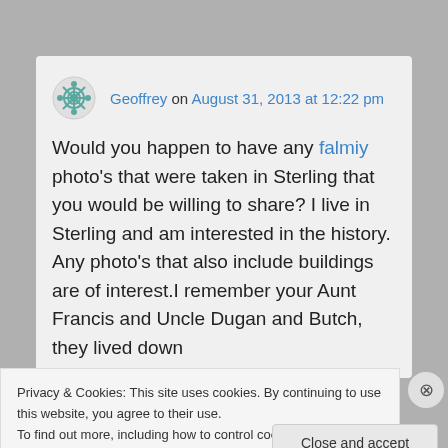Geoffrey on August 31, 2013 at 12:22 pm
Would you happen to have any falmiy photo's that were taken in Sterling that you would be willing to share? I live in Sterling and am interested in the history. Any photo's that also include buildings are of interest.I remember your Aunt Francis and Uncle Dugan and Butch, they lived down
Privacy & Cookies: This site uses cookies. By continuing to use this website, you agree to their use. To find out more, including how to control cookies, see here: Cookie Policy
Close and accept